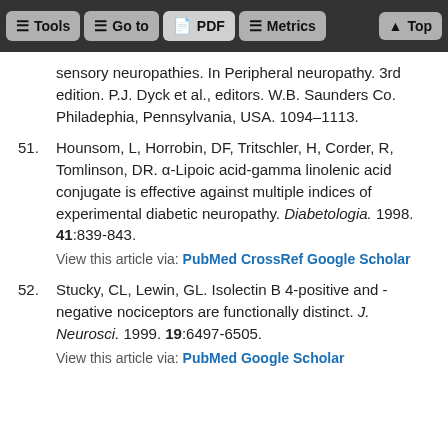Tools | Go to | PDF | Metrics | Top
sensory neuropathies. In Peripheral neuropathy. 3rd edition. P.J. Dyck et al., editors. W.B. Saunders Co. Philadephia, Pennsylvania, USA. 1094–1113.
51. Hounsom, L, Horrobin, DF, Tritschler, H, Corder, R, Tomlinson, DR. α-Lipoic acid-gamma linolenic acid conjugate is effective against multiple indices of experimental diabetic neuropathy. Diabetologia. 1998. 41:839-843.
View this article via: PubMed CrossRef Google Scholar
52. Stucky, CL, Lewin, GL. Isolectin B 4-positive and -negative nociceptors are functionally distinct. J. Neurosci. 1999. 19:6497-6505.
View this article via: PubMed Google Scholar